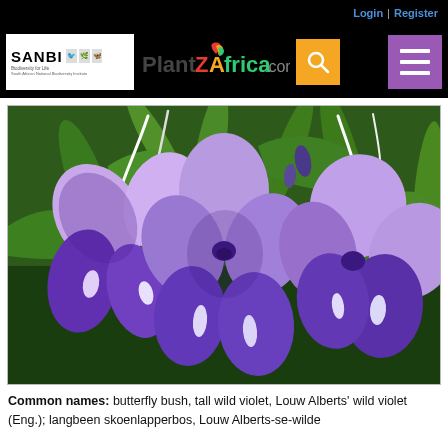Login | Register
[Figure (logo): SANBI and PlantZAfrica.com logos with search icon and hamburger menu on black navigation bar]
[Figure (photo): Close-up photograph of purple butterfly bush (Louw Alberts wild violet) flowers with green stems against a dark background]
Common names: butterfly bush, tall wild violet, Louw Alberts' wild violet (Eng.); langbeen skoenlapperbos, Louw Alberts-se-wilde